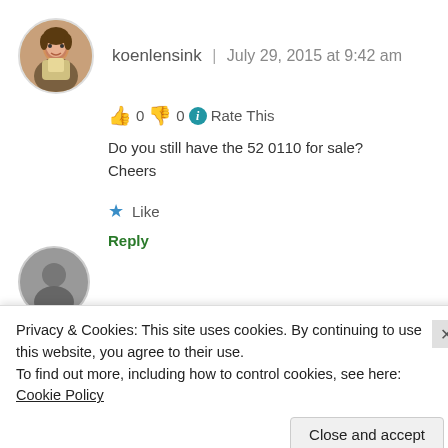koenlensink | July 29, 2015 at 9:42 am
👍 0 👎 0 ℹ Rate This
Do you still have the 52 0110 for sale?
Cheers
★ Like
Reply
Privacy & Cookies: This site uses cookies. By continuing to use this website, you agree to their use.
To find out more, including how to control cookies, see here: Cookie Policy
Close and accept